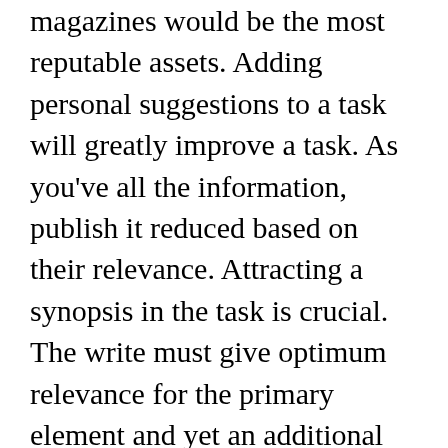magazines would be the most reputable assets. Adding personal suggestions to a task will greatly improve a task. As you've all the information, publish it reduced based on their relevance. Attracting a synopsis in the task is crucial. The write must give optimum relevance for the primary element and yet an additional crucial problems must follow chronologically. Work must be divided into appropriate sub-heads to truly ensure it is a lot more engrossing. The composing should be apparent adequate to talk to the readers. Following completing